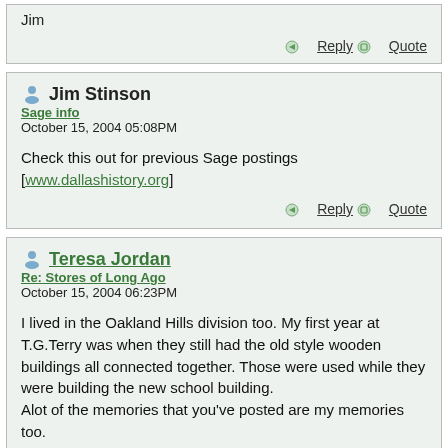Jim
Reply  Quote
Jim Stinson
Sage info
October 15, 2004 05:08PM
Check this out for previous Sage postings [www.dallashistory.org]
Reply  Quote
Teresa Jordan
Re: Stores of Long Ago
October 15, 2004 06:23PM
I lived in the Oakland Hills division too. My first year at T.G.Terry was when they still had the old style wooden buildings all connected together. Those were used while they were building the new school building.
Alot of the memories that you've posted are my memories too.